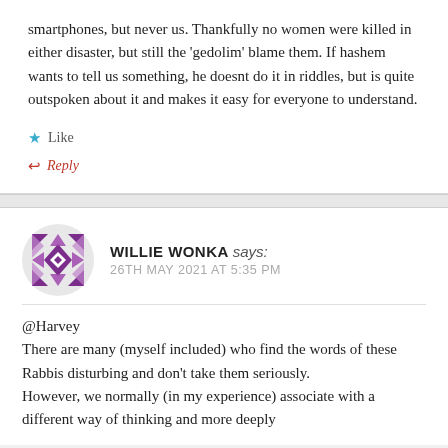smartphones, but never us. Thankfully no women were killed in either disaster, but still the 'gedolim' blame them. If hashem wants to tell us something, he doesnt do it in riddles, but is quite outspoken about it and makes it easy for everyone to understand.
★ Like
↩ Reply
WILLIE WONKA says:
26TH MAY 2021 AT 5:35 PM
@Harvey
There are many (myself included) who find the words of these Rabbis disturbing and don't take them seriously.
However, we normally (in my experience) associate with a different way of thinking and more deeply